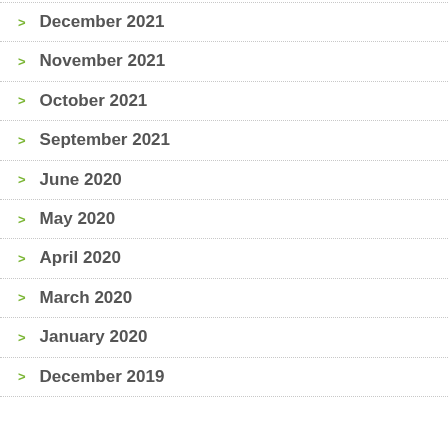December 2021
November 2021
October 2021
September 2021
June 2020
May 2020
April 2020
March 2020
January 2020
December 2019